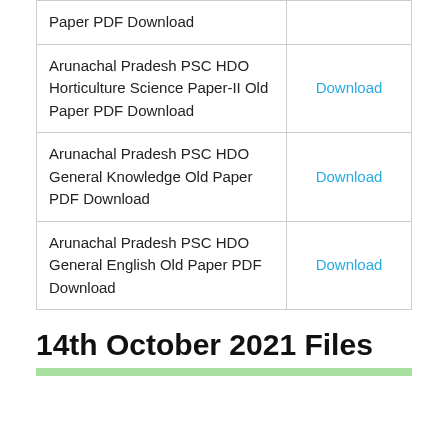| Paper PDF Download |  |
| Arunachal Pradesh PSC HDO Horticulture Science Paper-II Old Paper PDF Download | Download |
| Arunachal Pradesh PSC HDO General Knowledge Old Paper PDF Download | Download |
| Arunachal Pradesh PSC HDO General English Old Paper PDF Download | Download |
14th October 2021 Files